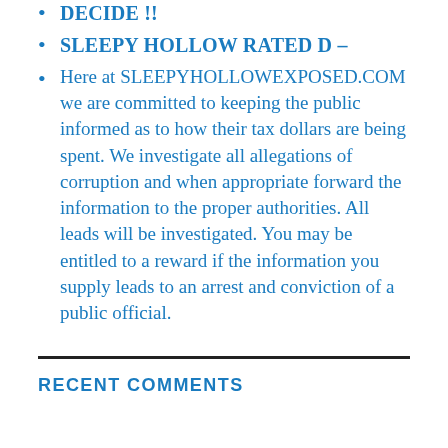DECIDE !!
SLEEPY HOLLOW RATED D –
Here at SLEEPYHOLLOWEXPOSED.COM we are committed to keeping the public informed as to how their tax dollars are being spent. We investigate all allegations of corruption and when appropriate forward the information to the proper authorities. All leads will be investigated. You may be entitled to a reward if the information you supply leads to an arrest and conviction of a public official.
RECENT COMMENTS